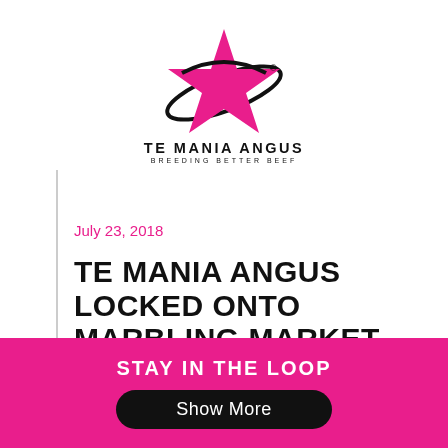[Figure (logo): Te Mania Angus logo — hot pink star with orbital ring, brand name TE MANIA ANGUS, tagline BREEDING BETTER BEEF]
July 23, 2018
TE MANIA ANGUS LOCKED ONTO MARBLING MARKET
MARBLING remains king at the premium end of the market and major meat buyers and processors now
STAY IN THE LOOP
Show More